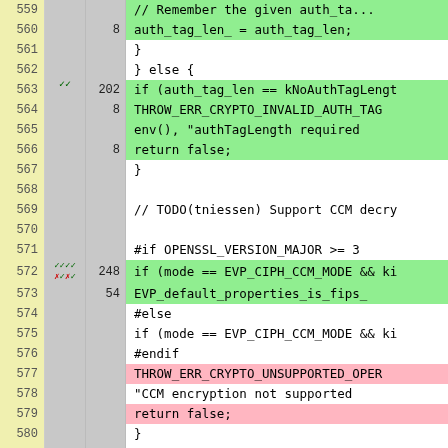[Figure (screenshot): Code coverage diff view showing C++ source lines 559-584 with line numbers, coverage markers (checkmarks/crosses), hit counts, and syntax-highlighted code. Green background indicates covered/added lines, pink background indicates uncovered lines, gray background indicates neutral coverage info columns.]